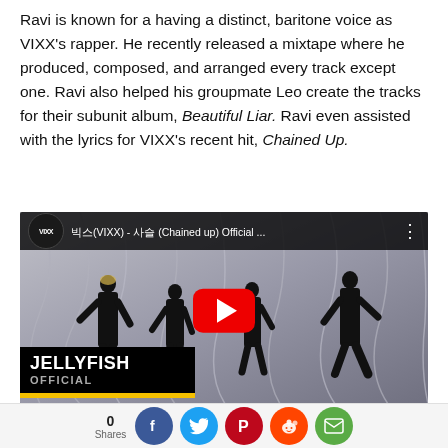Ravi is known for a having a distinct, baritone voice as VIXX's rapper. He recently released a mixtape where he produced, composed, and arranged every track except one. Ravi also helped his groupmate Leo create the tracks for their subunit album, Beautiful Liar. Ravi even assisted with the lyrics for VIXX's recent hit, Chained Up.
[Figure (screenshot): YouTube video embed showing VIXX - Chained Up Official MV by Jellyfish Official channel, with red play button overlay and social share bar at bottom showing 0 Shares with Facebook, Twitter, Pinterest, Reddit, and Email buttons]